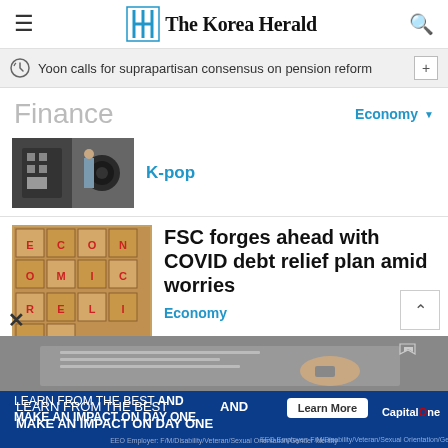The Korea Herald
Yoon calls for suprapartisan consensus on pension reform
Finance
Economy
[Figure (photo): K-pop related photo showing industrial or electronic equipment]
K-pop
[Figure (photo): Wooden blocks spelling ECONOMIC RELIEF in red letters]
FSC forges ahead with COVID debt relief plan amid worries
Economy
[Figure (photo): Advertisement: Learn From The Best And Make An Impact On Day One - Capital One Learn More button]
EEO Employer: F/M/Disability/Veteran/Sexual Orientation/Gender Identity